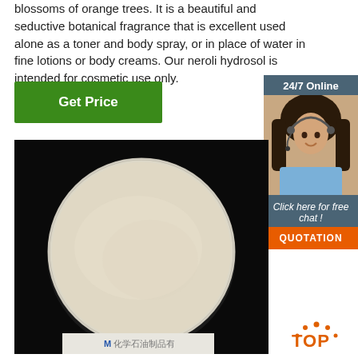blossoms of orange trees. It is a beautiful and seductive botanical fragrance that is excellent used alone as a toner and body spray, or in place of water in fine lotions or body creams. Our neroli hydrosol is intended for cosmetic use only.
[Figure (other): Green 'Get Price' button]
[Figure (other): 24/7 Online chat sidebar with photo of customer service representative, 'Click here for free chat!' text, and orange QUOTATION button]
[Figure (photo): Product photo showing a petri dish with beige/cream colored powder on a black background, with a company logo watermark bar at the bottom]
[Figure (logo): Orange 'TOP' badge with arc of dots above text, positioned in lower right area]